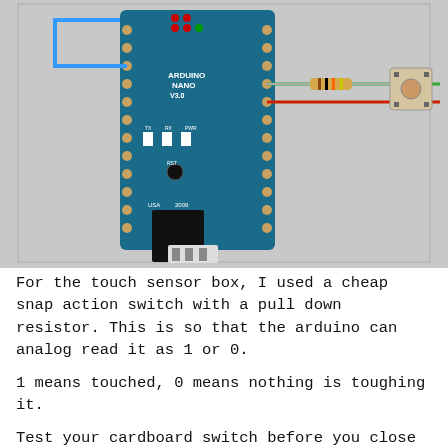[Figure (engineering-diagram): Circuit diagram showing an Arduino Nano V3.0 connected via wires to a resistor and a snap action push button switch. A blue wire connects from the Arduino's digital pin area, runs horizontally to the left side. A green wire runs from a pin through a resistor (brown-black-orange bands) to the button. A red wire connects the 5V pin to the button. The background is light gray.]
For the touch sensor box, I used a cheap snap action switch with a pull down resistor. This is so that the arduino can analog read it as 1 or 0.
1 means touched, 0 means nothing is toughing it.
Test your cardboard switch before you close it up